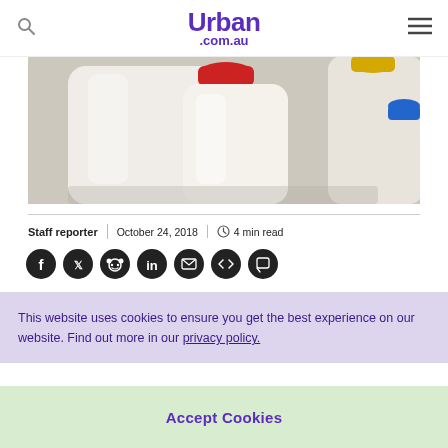Urban .com.au
[Figure (photo): Close-up of white plastic milk jugs/bottles with red, yellow and blue caps]
Staff reporter | October 24, 2018 | 4 min read
[Figure (other): Social share icons row: Facebook, Twitter, Reddit, LinkedIn, Email, Code/Share, Chat]
This website uses cookies to ensure you get the best experience on our website. Find out more in our privacy policy.
Accept Cookies